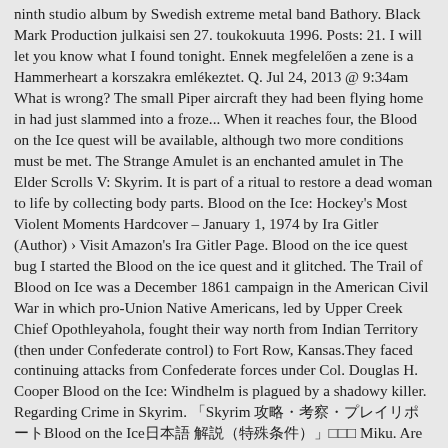ninth studio album by Swedish extreme metal band Bathory. Black Mark Production julkaisi sen 27. toukokuuta 1996. Posts: 21. I will let you know what I found tonight. Ennek megfelelően a zene is a Hammerheart a korszakra emlékeztet. Q. Jul 24, 2013 @ 9:34am What is wrong? The small Piper aircraft they had been flying home in had just slammed into a froze... When it reaches four, the Blood on the Ice quest will be available, although two more conditions must be met. The Strange Amulet is an enchanted amulet in The Elder Scrolls V: Skyrim. It is part of a ritual to restore a dead woman to life by collecting body parts. Blood on the Ice: Hockey's Most Violent Moments Hardcover – January 1, 1974 by Ira Gitler (Author) › Visit Amazon's Ira Gitler Page. Blood on the ice quest bug I started the Blood on the ice quest and it glitched. The Trail of Blood on Ice was a December 1861 campaign in the American Civil War in which pro-Union Native Americans, led by Upper Creek Chief Opothleyahola, fought their way north from Indian Territory (then under Confederate control) to Fort Row, Kansas.They faced continuing attacks from Confederate forces under Col. Douglas H. Cooper Blood on the Ice: Windhelm is plagued by a shadowy killer. Regarding Crime in Skyrim. 「Skyrim 攻略・考察・プレイリポートBlood on the Ice日本語 解説（特殊条件）」□□□ Miku. Are you an author? A rajongók és a kritika is jól fogadta a lemezt, bár akkora klasszikus nem lett belőle mint a